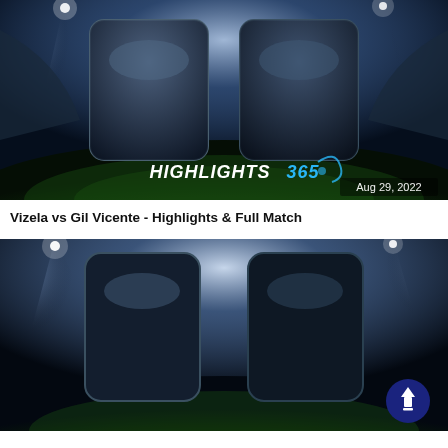[Figure (screenshot): Highlights365 branded football/soccer match thumbnail showing two dark rounded rectangles (team logo placeholders) on a football stadium background with floodlights. Date shown: Aug 29, 2022. HIGHLIGHTS365 logo visible at bottom center.]
Vizela vs Gil Vicente - Highlights & Full Match
[Figure (screenshot): Second Highlights365 branded football/soccer match thumbnail showing two dark rounded rectangles on a football stadium background with floodlights. A dark blue circular back-to-top arrow button is visible in the bottom right corner.]